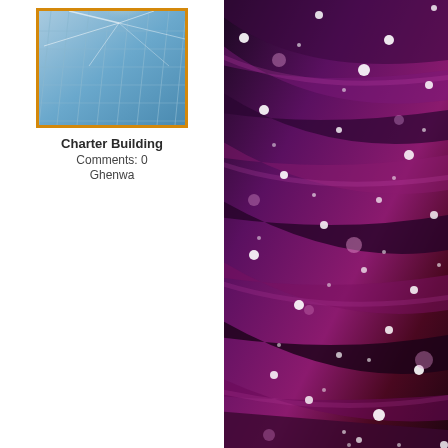[Figure (photo): Photograph of the Charter Building exterior glass facade with sunlight reflecting off the grid-pattern glass panels, framed with an orange/gold border.]
Charter Building
Comments: 0
Ghenwa
[Figure (photo): Abstract background image with dark purple and maroon diagonal flowing fabric or cloth texture with scattered white and pink bokeh light circles.]